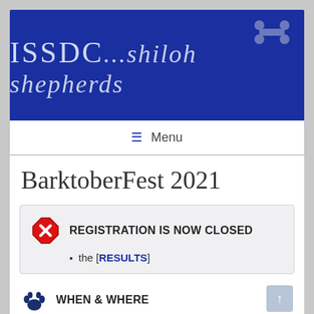[Figure (logo): ISSDC shiloh shepherds blue header banner with silver italic text and bone icon]
≡  Menu
BarktoberFest 2021
REGISTRATION IS NOW CLOSED
• the [RESULTS]
WHEN & WHERE
October 8-10, 2021